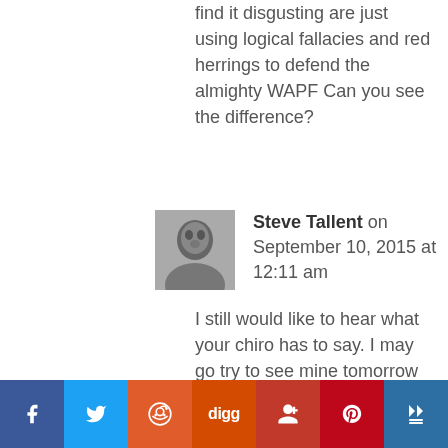find it disgusting are just using logical fallacies and red herrings to defend the almighty WAPF Can you see the difference?
Steve Tallent on September 10, 2015 at 12:11 am
[Figure (photo): Black and white avatar photo of Steve Tallent]
I still would like to hear what your chiro has to say. I may go try to see mine tomorrow and I'll ask him if he's seen this. If not, I'll shoot him an email.
And I do see the how this differs from a critique or even attack on certain